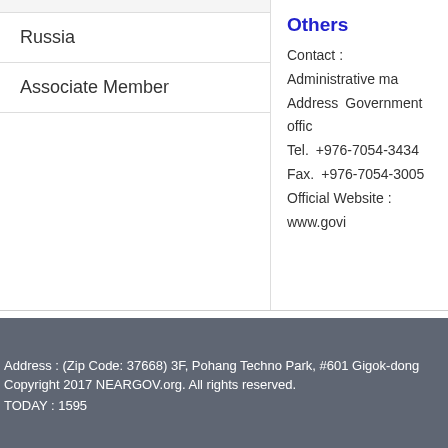| Russia |
| Associate Member |
Others
Contact : Administrative ma
Address Government offic
Tel. +976-7054-3434
Fax. +976-7054-3005
Official Website : www.govi
Address : (Zip Code: 37668) 3F, Pohang Techno Park, #601 Gigok-dong
Copyright 2017 NEARGOV.org. All rights reserved.
TODAY : 1595